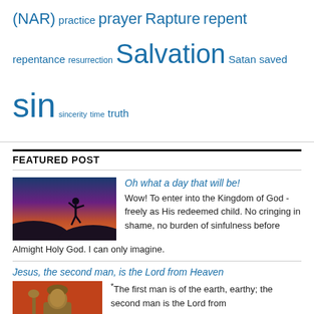(NAR) practice prayer Rapture repent repentance resurrection Salvation Satan saved sin sincerity time truth
FEATURED POST
[Figure (photo): Person silhouette jumping against a dramatic sunset sky with orange, pink and blue colors over dark hills]
Oh what a day that will be! Wow! To enter into the Kingdom of God - freely as His redeemed child. No cringing in shame, no burden of sinfulness before Almight Holy God. I can only imagine.
Jesus, the second man, is the Lord from Heaven
[Figure (photo): Bronze or gold bust sculpture of a figure against an orange/red background]
*The first man is of the earth, earthy; the second man is the Lord from